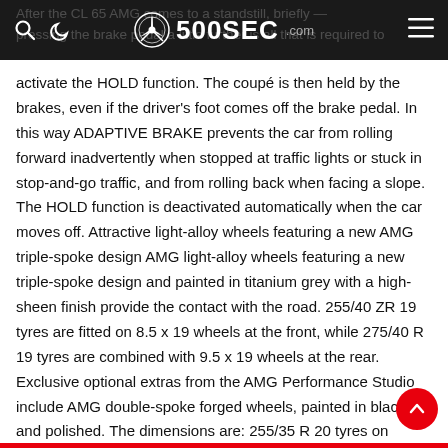500SEC.com
After the CL 65 AMG comes to a standstill, briefly pressing the brake pedal a little further is all that is required to activate the HOLD function. The coupé is then held by the brakes, even if the driver's foot comes off the brake pedal. In this way ADAPTIVE BRAKE prevents the car from rolling forward inadvertently when stopped at traffic lights or stuck in stop-and-go traffic, and from rolling back when facing a slope. The HOLD function is deactivated automatically when the car moves off. Attractive light-alloy wheels featuring a new AMG triple-spoke design AMG light-alloy wheels featuring a new triple-spoke design and painted in titanium grey with a high-sheen finish provide the contact with the road. 255/40 ZR 19 tyres are fitted on 8.5 x 19 wheels at the front, while 275/40 R 19 tyres are combined with 9.5 x 19 wheels at the rear. Exclusive optional extras from the AMG Performance Studio include AMG double-spoke forged wheels, painted in black and polished. The dimensions are: 255/35 R 20 tyres on